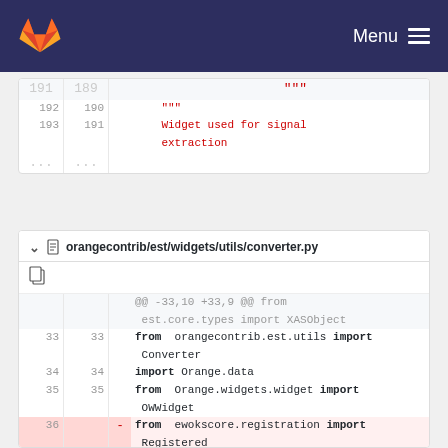Menu
[Figure (screenshot): GitLab diff view showing code lines 191-193 with red string 'Widget used for signal extraction' in a Python file]
orangecontrib/est/widgets/utils/converter.py
[Figure (screenshot): GitLab diff view of converter.py showing lines 33-39 with imports and a deleted line 36: from ewokscore.registration import Registered]